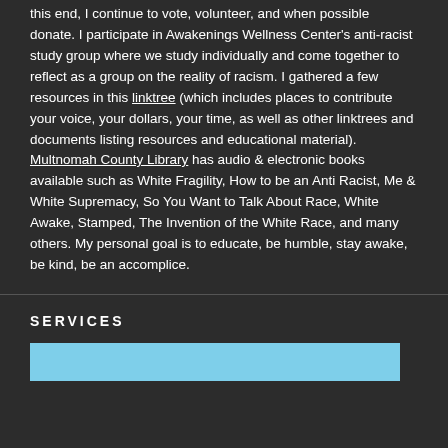this end, I continue to vote, volunteer, and when possible donate. I participate in Awakenings Wellness Center's anti-racist study group where we study individually and come together to reflect as a group on the reality of racism. I gathered a few resources in this linktree (which includes places to contribute your voice, your dollars, your time, as well as other linktrees and documents listing resources and educational material). Multnomah County Library has audio & electronic books available such as White Fragility, How to be an Anti Racist, Me & White Supremacy, So You Want to Talk About Race, White Awake, Stamped, The Invention of the White Race, and many others. My personal goal is to educate, be humble, stay awake, be kind, be an accomplice.
SERVICES